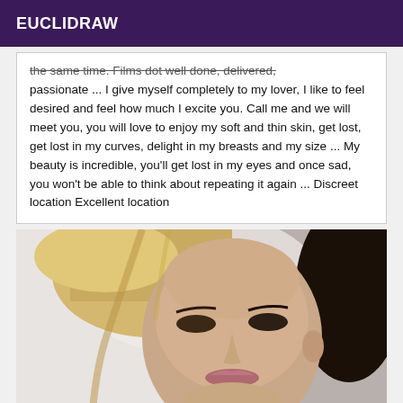EUCLIDRAW
the same time. Films dot well done, delivered, passionate ... I give myself completely to my lover, I like to feel desired and feel how much I excite you. Call me and we will meet you, you will love to enjoy my soft and thin skin, get lost, get lost in my curves, delight in my breasts and my size ... My beauty is incredible, you'll get lost in my eyes and once sad, you won't be able to think about repeating it again ... Discreet location Excellent location
[Figure (photo): Close-up portrait photo of a woman with blonde hair on the left side and dark hair on the right side, looking directly at the camera.]